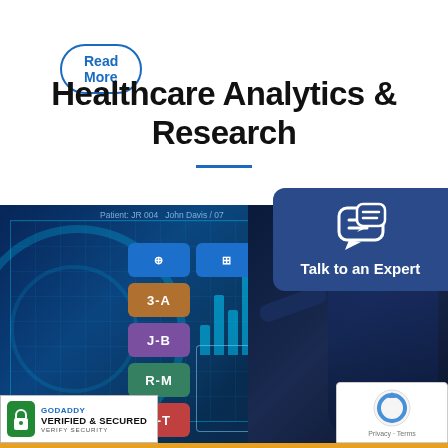Read More
Healthcare Analytics & Research
[Figure (photo): Healthcare professional interacting with a holographic digital interface displaying medical data, analytics panels and menu tiles including 3-A, J-B, R-M, S-T labels. Blue-toned digital visualization overlay on dark background.]
[Figure (infographic): Talk to an Expert button badge with chat icon on dark blue rounded rectangle background]
[Figure (logo): GoDaddy Verified & Secured – Verify Security badge with green lock icon]
[Figure (logo): Google reCAPTCHA badge with Privacy and Terms links]